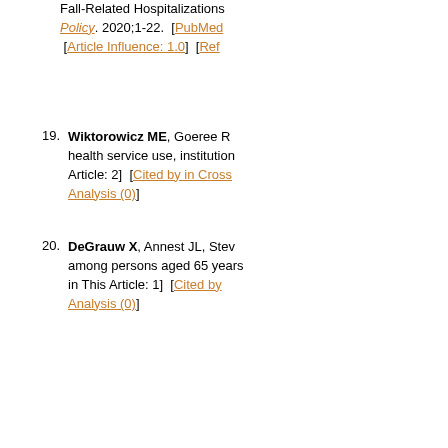Fall-Related Hospitalizations Policy. 2020;1-22. [PubMed] [Article Influence: 1.0] [Ref
19. Wiktorowicz ME, Goeree R, health service use, institution Article: 2] [Cited by in Cross Analysis (0)]
20. DeGrauw X, Annest JL, Stev among persons aged 65 years in This Article: 1] [Cited by Analysis (0)]
21. Hartholt KA, Polinder S, Va EF. Costs of falls in an ageing [PubMed] [DOI] [Cited in T 5.9] [Reference Citation Ana
22. Heinrich S, Rapp K, Rissma residents in Germany: the Ba [PubMed] [DOI] [Cited in T 1.9] [Reference Citation Ana
23. Hoang OT, Jullamate P, Piph adults. J Clin Nurs. 2017;26: